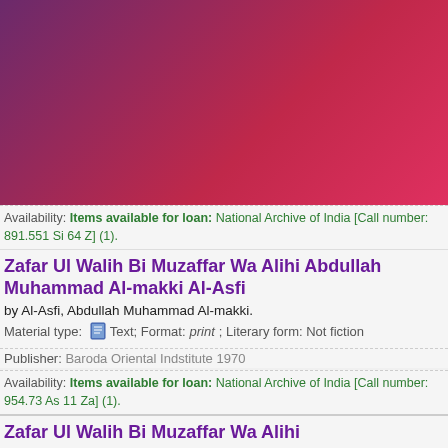[Figure (other): Purple to red gradient banner/header background]
Availability: Items available for loan: National Archive of India [Call number: 891.551 Si 64 Z] (1).
Zafar Ul Walih Bi Muzaffar Wa Alihi Abdullah Muhammad Al-makki Al-Asfi
by Al-Asfi, Abdullah Muhammad Al-makki.
Material type: Text; Format: print ; Literary form: Not fiction
Publisher: Baroda Oriental Indstitute 1970
Availability: Items available for loan: National Archive of India [Call number: 954.73 As 11 Za] (1).
Zafar Ul Walih Bi Muzaffar Wa Alihi
Material type: Text; Format: print ; Literary form: Not fiction
Publisher: Baroda Oriental Institute 1970
Availability: Items available for loan: National Archive of India [Call number: 954.04 G 1;] (1).